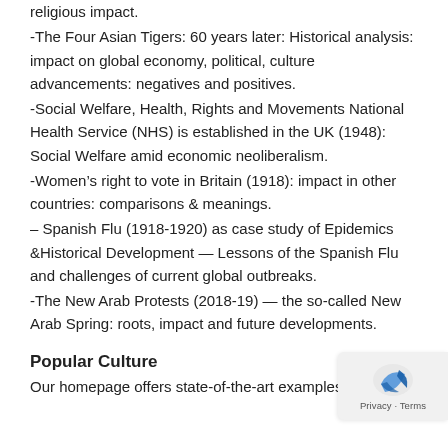religious impact.
-The Four Asian Tigers: 60 years later: Historical analysis: impact on global economy, political, culture advancements: negatives and positives.
-Social Welfare, Health, Rights and Movements National Health Service (NHS) is established in the UK (1948): Social Welfare amid economic neoliberalism.
-Women's right to vote in Britain (1918): impact in other countries: comparisons & meanings.
– Spanish Flu (1918-1920) as case study of Epidemics &Historical Development — Lessons of the Spanish Flu and challenges of current global outbreaks.
-The New Arab Protests (2018-19) — the so-called New Arab Spring: roots, impact and future developments.
Popular Culture
Our homepage offers state-of-the-art examples of US &…